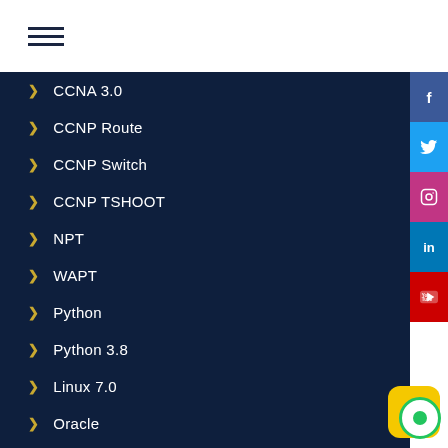[Figure (other): Hamburger menu icon with three horizontal lines]
CCNA 3.0
CCNP Route
CCNP Switch
CCNP TSHOOT
NPT
WAPT
Python
Python 3.8
Linux 7.0
Oracle
A...
[Figure (other): Social media sidebar with Facebook, Twitter, Instagram, LinkedIn, YouTube icons]
[Figure (other): Chat widget button in yellow with green circle]